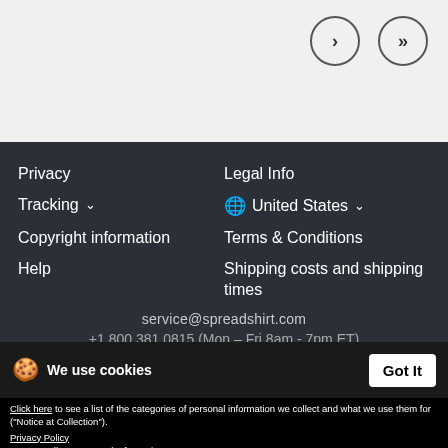[Figure (screenshot): Navigation buttons (chevron right and double chevron right) on light gray background]
Privacy
Legal Info
Tracking ∨
🌐 United States ∨
Copyright information
Terms & Conditions
Help
Shipping costs and shipping times
service@spreadshirt.com
+1 800 381 0815 (Mon - Fri 8am - 7pm ET)
We use cookies
Got It
Click here to see a list of the categories of personal information we collect and what we use them for ("Notice at Collection").
Privacy Policy
Do Not Sell My Personal Information
By using this website, I agree to the Terms and Conditions